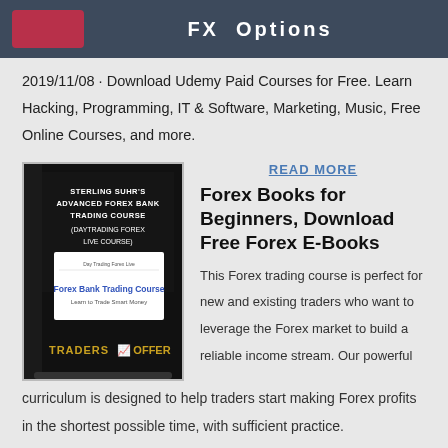FX Options
2019/11/08 · Download Udemy Paid Courses for Free. Learn Hacking, Programming, IT & Software, Marketing, Music, Free Online Courses, and more.
[Figure (photo): Book cover: Sterling Suhr's Advanced Forex Bank Trading Course (Daytrading Forex Live Course), Traders Offer]
READ MORE
Forex Books for Beginners, Download Free Forex E-Books
This Forex trading course is perfect for new and existing traders who want to leverage the Forex market to build a reliable income stream. Our powerful curriculum is designed to help traders start making Forex profits in the shortest possible time, with sufficient practice.